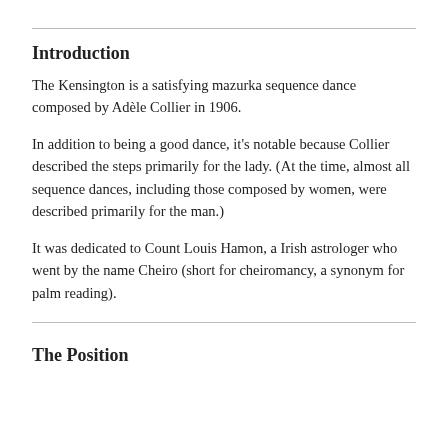Introduction
The Kensington is a satisfying mazurka sequence dance composed by Adèle Collier in 1906.
In addition to being a good dance, it's notable because Collier described the steps primarily for the lady. (At the time, almost all sequence dances, including those composed by women, were described primarily for the man.)
It was dedicated to Count Louis Hamon, a Irish astrologer who went by the name Cheiro (short for cheiromancy, a synonym for palm reading).
The Position